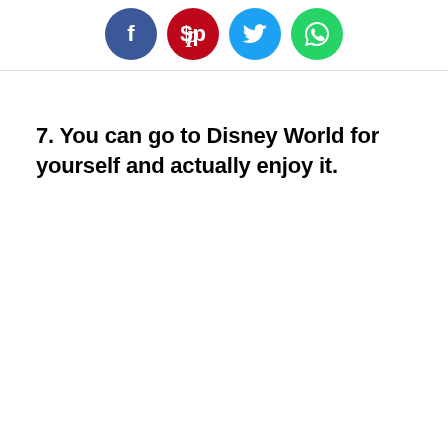[Figure (illustration): Four social media share buttons: Facebook (blue circle with f), Pinterest (red circle with P), Twitter (blue circle with bird), WhatsApp (green circle with phone handset)]
7. You can go to Disney World for yourself and actually enjoy it.